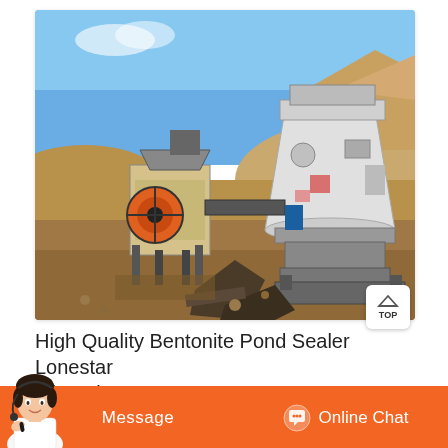[Figure (photo): Outdoor photograph of mining/crushing equipment setup in an arid landscape. Shows jaw crusher (yellow, with orange flywheel) and cone crusher (white) on metal frames in a desert quarry site with blue sky and sandy hills in background.]
High Quality Bentonite Pond Sealer Lonestar Minerals
...in the US. Bentonite is the chip...